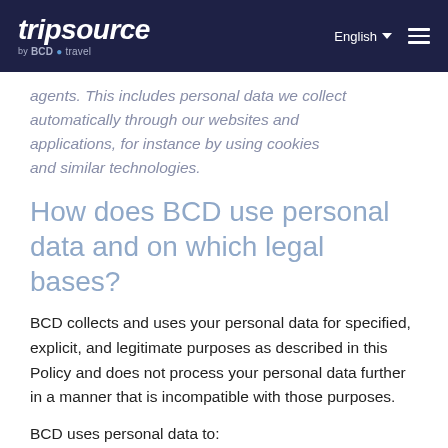tripsource by BCD travel | English
agents. This includes personal data we collect automatically through our websites and applications, for instance by using cookies and similar technologies.
How does BCD use personal data and on which legal bases?
BCD collects and uses your personal data for specified, explicit, and legitimate purposes as described in this Policy and does not process your personal data further in a manner that is incompatible with those purposes.
BCD uses personal data to:
A. Provide its Services and fulfill its obligations